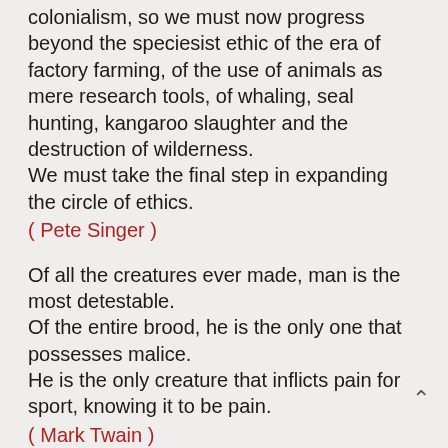colonialism, so we must now progress beyond the speciesist ethic of the era of factory farming, of the use of animals as mere research tools, of whaling, seal hunting, kangaroo slaughter and the destruction of wilderness.
We must take the final step in expanding the circle of ethics.
( Pete Singer )
Of all the creatures ever made, man is the most detestable.
Of the entire brood, he is the only one that possesses malice.
He is the only creature that inflicts pain for sport, knowing it to be pain.
( Mark Twain )